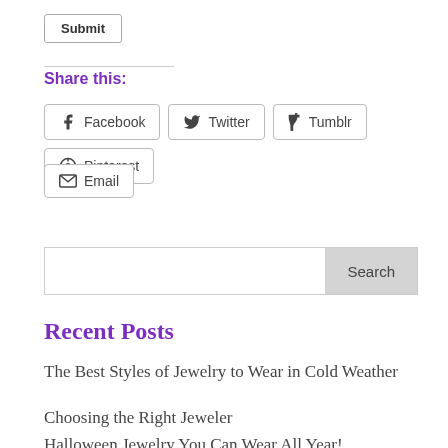Submit
Share this:
Facebook  Twitter  Tumblr  Pinterest
Email
Search
Recent Posts
The Best Styles of Jewelry to Wear in Cold Weather
Choosing the Right Jeweler
Halloween Jewelry You Can Wear All Year!